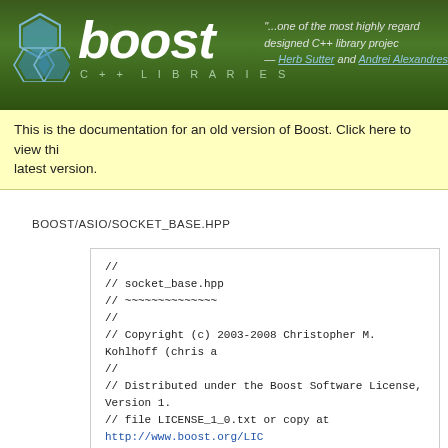[Figure (logo): Boost C++ Libraries logo with hexagon icon and italic white 'boost' text on green gradient banner, with quote from Herb Sutter and Andrei Alexandrescu]
This is the documentation for an old version of Boost. Click here to view this page for the latest version.
BOOST/ASIO/SOCKET_BASE.HPP
//
// socket_base.hpp
// ~~~~~~~~~~~~~~
//
// Copyright (c) 2003-2008 Christopher M. Kohlhoff (chris a
//
// Distributed under the Boost Software License, Version 1.
// file LICENSE_1_0.txt or copy at http://www.boost.org/LIC
//

#ifndef BOOST_ASIO_SOCKET_BASE_HPP
#define BOOST_ASIO_SOCKET_BASE_HPP

#if defined(_MSC_VER) && (_MSC_VER >= 1200)
# pragma once
#endif // defined(_MSC_VER) && (_MSC_VER >= 1200)

#include <boost/asio/detail/push_options.hpp>